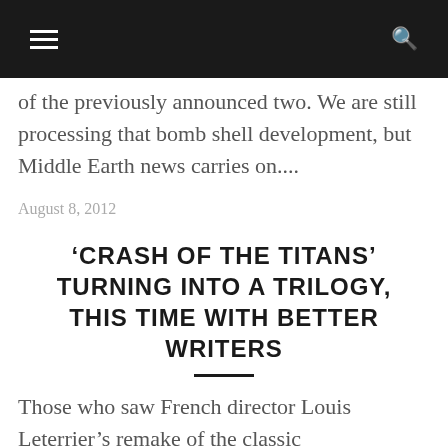☰  🔍
of the previously announced two. We are still processing that bomb shell development, but Middle Earth news carries on....
August 8, 2012
'CRASH OF THE TITANS' TURNING INTO A TRILOGY, THIS TIME WITH BETTER WRITERS
Those who saw French director Louis Leterrier's remake of the classic